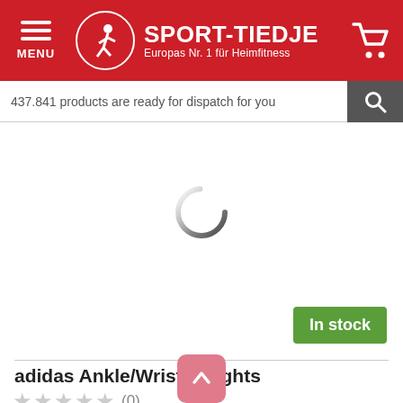[Figure (screenshot): Sport-Tiedje e-commerce website header with red background, menu button, logo with runner icon, brand name SPORT-TIEDJE, tagline Europas Nr. 1 für Heimfitness, and shopping cart icon]
437.841 products are ready for dispatch for you
[Figure (other): Loading spinner circle indicator]
[Figure (other): In stock green badge]
adidas Ankle/Wrist Weights
★★★★★ (0)